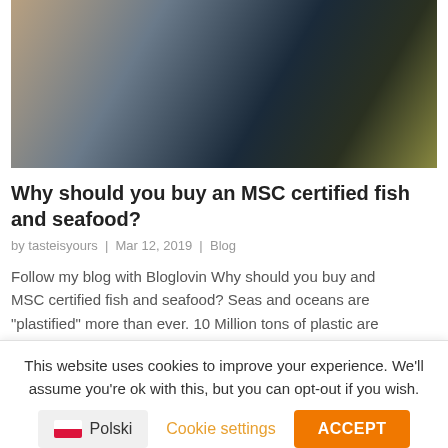[Figure (photo): Close-up photo of fish and seafood on a dark surface, showing fish with yellow/orange coloring and dark background]
Why should you buy an MSC certified fish and seafood?
by tasteisyours | Mar 12, 2019 | Blog
Follow my blog with Bloglovin Why should you buy and MSC certified fish and seafood? Seas and oceans are “plastified” more than ever. 10 Million tons of plastic are thrown into them per year. The life in seas and oceans never had been in bigger danger and...
This website uses cookies to improve your experience. We'll assume you're ok with this, but you can opt-out if you wish.
Cookie settings
ACCEPT
Polski